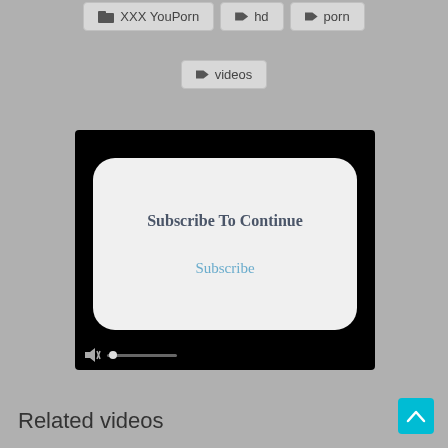XXX YouPorn
hd
porn
videos
[Figure (screenshot): Video player with a subscribe modal overlay showing 'Subscribe To Continue' heading and a 'Subscribe' link, with muted speaker icon and progress bar at bottom]
Related videos